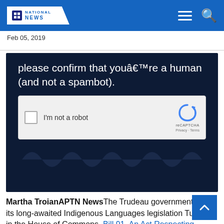NATIONAL NEWS
Feb 05, 2019
[Figure (screenshot): Screenshot of a reCAPTCHA verification widget on a dark navy background. Text reads 'please confirm that youâ€™re a human (and not a spambot).' with an 'I'm not a robot' checkbox and reCAPTCHA logo, Privacy and Terms links.]
Martha TroianAPTN NewsThe Trudeau government tabled its long-awaited Indigenous Languages legislation Tuesday in the House of Commons. Bill 91, An Act Respecting Indigenous Languages, would